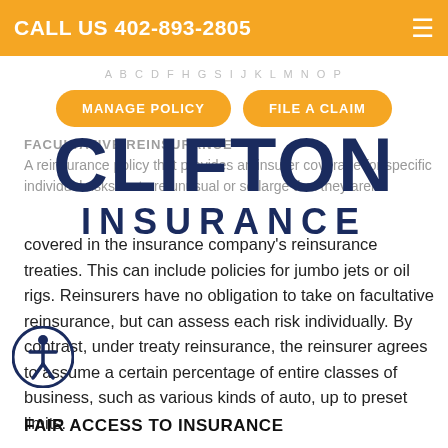CALL US 402-893-2805
A B C D F H G S I J K L M N O P
MANAGE POLICY   FILE A CLAIM
[Figure (logo): Clifton Insurance logo in dark navy blue, large text CLIFTON on top and INSURANCE below]
FACULTATIVE REINSURANCE
A reinsurance policy that provides an insurer coverage for specific individual risks that are unusual or so large that they aren't covered in the insurance company's reinsurance treaties. This can include policies for jumbo jets or oil rigs. Reinsurers have no obligation to take on facultative reinsurance, but can assess each risk individually. By contrast, under treaty reinsurance, the reinsurer agrees to assume a certain percentage of entire classes of business, such as various kinds of auto, up to preset limits.
FAIR ACCESS TO INSURANCE